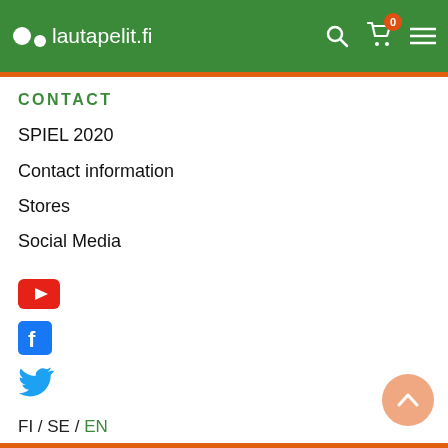lautapelit.fi
CONTACT
SPIEL 2020
Contact information
Stores
Social Media
[Figure (logo): YouTube icon (red rounded rectangle with white play button)]
[Figure (logo): Facebook icon (blue rounded square with white f)]
[Figure (logo): Twitter icon (blue bird)]
FI / SE / EN